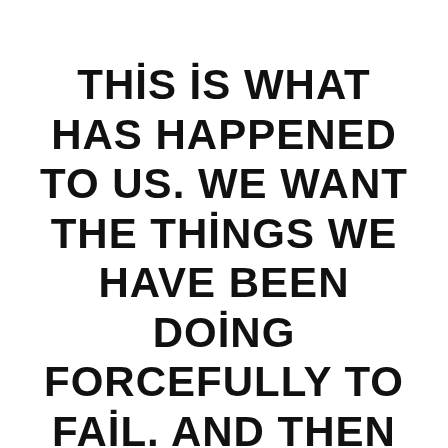THIS IS WHAT HAS HAPPENED TO US. WE WANT THE THINGS WE HAVE BEEN DOING FORCEFULLY TO FAIL. AND THEN MAYBE PEOPLE AROUND US WOULD LET US TRY